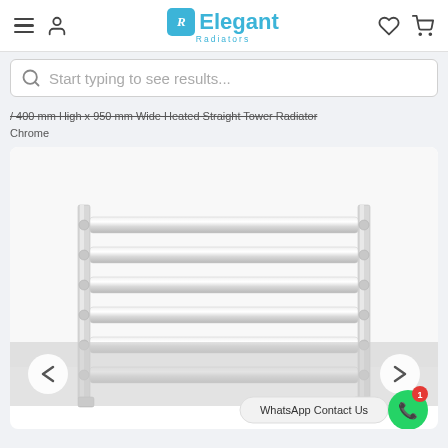Elegant Radiators — navigation header with menu, user, wishlist, and cart icons
Start typing to see results...
/ 400 mm High x 950 mm Wide Heated Straight Tower Radiator Chrome
[Figure (photo): Chrome heated straight towel radiator product photo on white background, showing horizontal chrome bars with polished finish. Navigation arrows on left and right sides. WhatsApp Contact Us button at bottom right.]